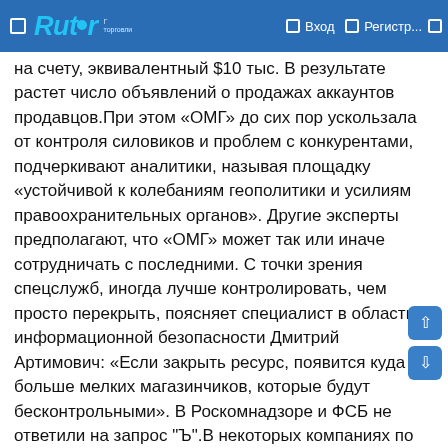Rutor — Вход — Регистр...
на счету, эквивалентный $10 тыс. В результате растет число объявлений о продажах аккаунтов продавцов.При этом «ОМГ» до сих пор ускользала от контроля силовиков и проблем с конкурентами, подчеркивают аналитики, называя площадку «устойчивой к колебаниям геополитики и усилиям правоохранительных органов». Другие эксперты предполагают, что «ОМГ» может так или иначе сотрудничать с последними. С точки зрения спецслужб, иногда лучше контролировать, чем просто перекрыть, поясняет специалист в области информационной безопасности Дмитрий Артимович: «Если закрыть ресурс, появится куда больше мелких магазинчиков, которые будут бесконтрольными». В Роскомнадзоре и ФСБ не ответили на запрос "Ъ".В некоторых компаниях по кибербезопасности действительно есть негласное указание «не работать с "Гидрой»», рассказал собеседник "Ъ" на рынке: «Это означает, что они не занимаются поиском киберпреступников на этом ресурсе».После ряда крупных операций по борьбе с наркоторговлей в 2019–2020 годах мировые СМИ утверждали, что «золотой век» наркоторговли